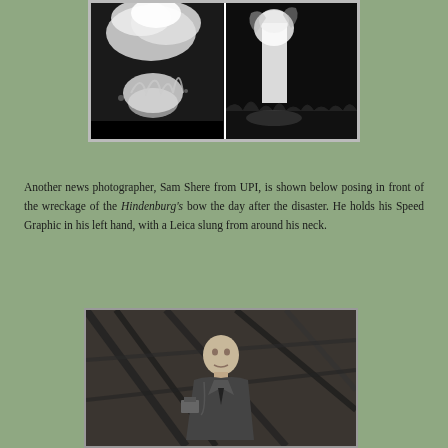[Figure (photo): Two side-by-side black and white photographs showing the Hindenburg disaster, with large flames and smoke billowing into the night sky.]
Another news photographer, Sam Shere from UPI, is shown below posing in front of the wreckage of the Hindenburg's bow the day after the disaster. He holds his Speed Graphic in his left hand, with a Leica slung from around his neck.
[Figure (photo): Black and white photograph of Sam Shere posing in front of the wreckage of the Hindenburg's bow, holding a Speed Graphic camera in his left hand with a Leica around his neck.]